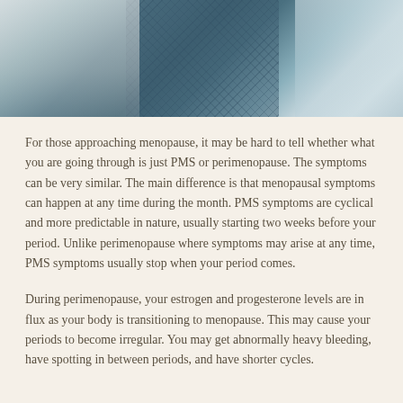[Figure (photo): Close-up photo of a person wearing a denim jacket with a white fabric or bag, showing the torso area]
For those approaching menopause, it may be hard to tell whether what you are going through is just PMS or perimenopause. The symptoms can be very similar. The main difference is that menopausal symptoms can happen at any time during the month. PMS symptoms are cyclical and more predictable in nature, usually starting two weeks before your period. Unlike perimenopause where symptoms may arise at any time, PMS symptoms usually stop when your period comes.
During perimenopause, your estrogen and progesterone levels are in flux as your body is transitioning to menopause. This may cause your periods to become irregular. You may get abnormally heavy bleeding, have spotting in between periods, and have shorter cycles.